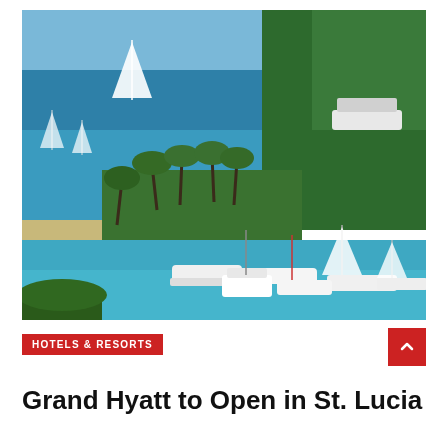[Figure (photo): Aerial view of a Caribbean bay (St. Lucia) with turquoise water, sailboats and motorboats anchored in the harbor, a palm-tree-lined beach and marina, and a densely forested green hillside in the background on the right.]
HOTELS & RESORTS
Grand Hyatt to Open in St. Lucia